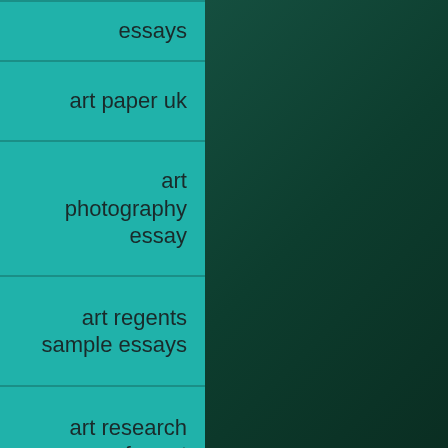essays
art paper uk
art photography essay
art regents sample essays
art research paper format
art research paper topic ideas